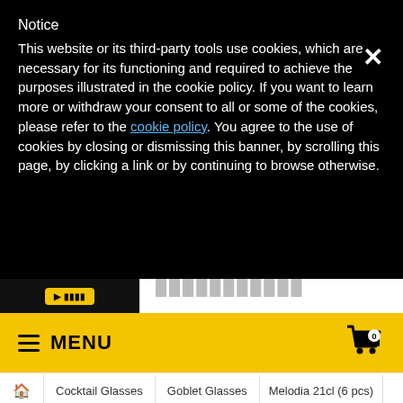Notice
This website or its third-party tools use cookies, which are necessary for its functioning and required to achieve the purposes illustrated in the cookie policy. If you want to learn more or withdraw your consent to all or some of the cookies, please refer to the cookie policy. You agree to the use of cookies by closing or dismissing this banner, by scrolling this page, by clicking a link or by continuing to browse otherwise.
[Figure (screenshot): Partial product image strip showing a dark background with a yellow button on the left and blurred product text on the right]
[Figure (screenshot): Yellow menu bar with hamburger icon and MENU label on the left, and a shopping cart icon with 0 badge on the right]
🏠  Cocktail Glasses  Goblet Glasses  Melodia 21cl (6 pcs)
Goblet Glass